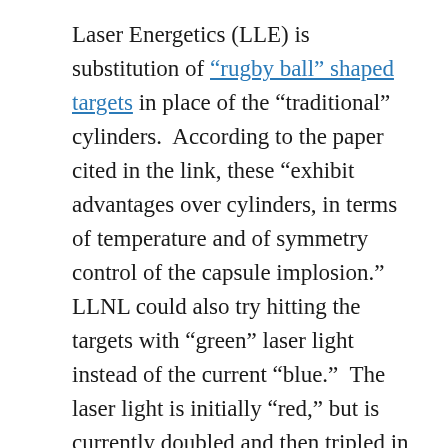Laser Energetics (LLE) is substitution of “rugby ball” shaped targets in place of the “traditional” cylinders.  According to the paper cited in the link, these “exhibit advantages over cylinders, in terms of temperature and of symmetry control of the capsule implosion.”  LLNL could also try hitting the targets with “green” laser light instead of the current “blue.”  The laser light is initially “red,” but is currently doubled and then tripled in frequency by passing it through slabs of a special crystal material, shortening its wavelength to the shorter “blue” wavelength, which is absorbed more efficiently.  However, each time the wavelength is shortened, energy is lost.  If “green” light were used, as much as 4